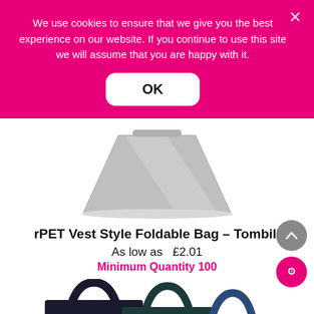We use cookies to ensure that we give you the best experience on our website. If you continue to use this site we will assume that you are happy with it.
OK
[Figure (photo): Grey rPET foldable tote bag shown from a three-quarter angle on white background]
rPET Vest Style Foldable Bag – Tombili
As low as  £2.01
Minimum Quantity 100
[Figure (photo): Dark navy/black and teal reusable tote bags with handles, partially visible at bottom of page]